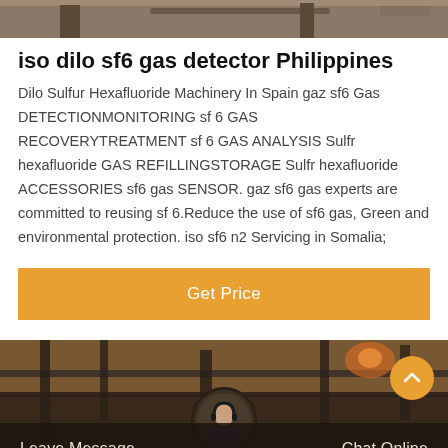[Figure (photo): Top cropped industrial/machinery photo strip]
iso dilo sf6 gas detector Philippines
Dilo Sulfur Hexafluoride Machinery In Spain gaz sf6 Gas DETECTIONMONITORING sf 6 GAS RECOVERYTREATMENT sf 6 GAS ANALYSIS Sulfr hexafluoride GAS REFILLINGSTORAGE Sulfr hexafluoride ACCESSORIES sf6 gas SENSOR. gaz sf6 gas experts are committed to reusing sf 6.Reduce the use of sf6 gas, Green and environmental protection. iso sf6 n2 Servicing in Somalia;
[Figure (other): Orange Get Price button]
[Figure (photo): Bottom industrial pipes/equipment photo with dark footer bar showing Leave Message and Chat Online, avatar headset icon, and orange scroll-to-top button]